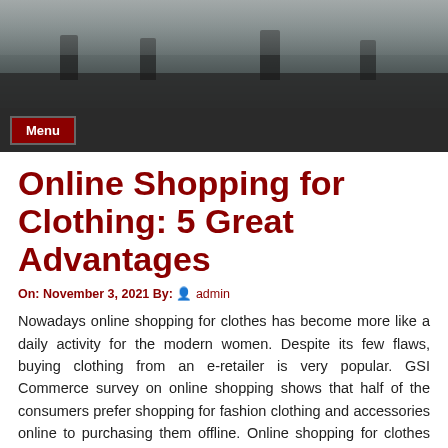[Figure (photo): Header photo showing people's feet and legs on a street or sidewalk, dark/grayish tones]
Menu
Online Shopping for Clothing: 5 Great Advantages
On: November 3, 2021 By: admin
Nowadays online shopping for clothes has become more like a daily activity for the modern women. Despite its few flaws, buying clothing from an e-retailer is very popular. GSI Commerce survey on online shopping shows that half of the consumers prefer shopping for fashion clothing and accessories online to purchasing them offline. Online shopping for clothes has earned its place deservedly and we have to admit it.
Buy clothes online 24/7
One of the most important advantages of the online shopping for clothing is that you can buy your clothes regardless of what time it is. If you usually are engaged with work at the office till late, deal with your kids